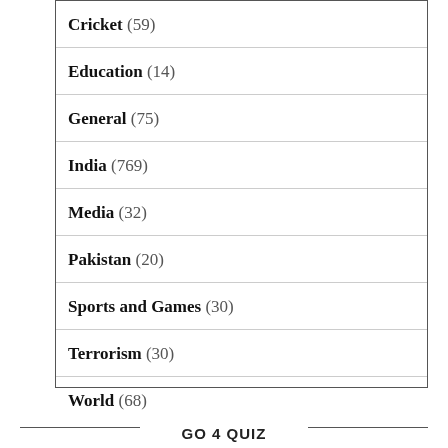Cricket (59)
Education (14)
General (75)
India (769)
Media (32)
Pakistan (20)
Sports and Games (30)
Terrorism (30)
World (68)
GO 4 QUIZ